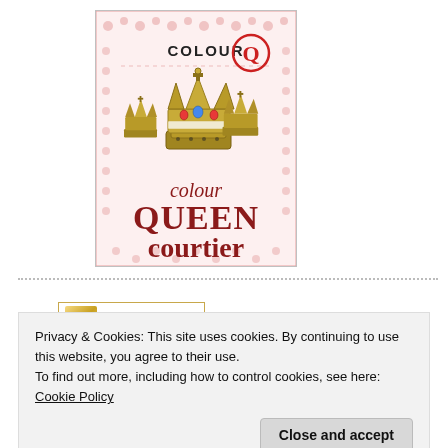[Figure (illustration): Book cover for 'Colour Queen Courtier' featuring royal crowns illustration on a pink decorative background with red text for the title and a 'Q' logo at the top.]
[Figure (illustration): A small award/review badge with a ribbon icon and 'I received' text in italic style.]
Privacy & Cookies: This site uses cookies. By continuing to use this website, you agree to their use.
To find out more, including how to control cookies, see here: Cookie Policy
Close and accept